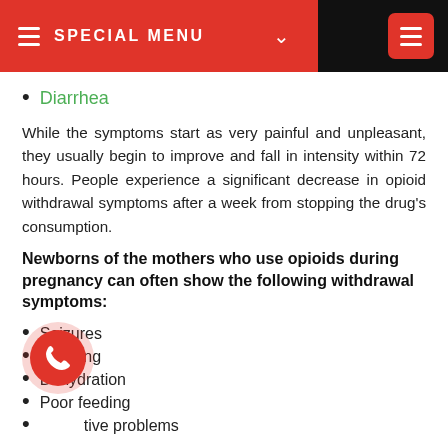SPECIAL MENU
Diarrhea
While the symptoms start as very painful and unpleasant, they usually begin to improve and fall in intensity within 72 hours. People experience a significant decrease in opioid withdrawal symptoms after a week from stopping the drug's consumption.
Newborns of the mothers who use opioids during pregnancy can often show the following withdrawal symptoms:
Seizures
Vomiting
Dehydration
Poor feeding
Digestive problems
People should also remember that different medications remain in the body for a different duration, and that can